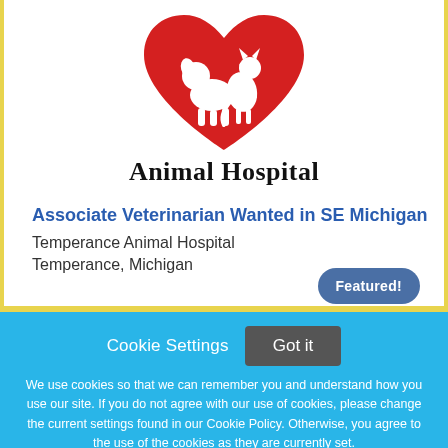[Figure (logo): Temperance Animal Hospital logo: red heart shape with a dog and cat silhouette inside, above the text 'Animal Hospital' in bold serif font]
Associate Veterinarian Wanted in SE Michigan
Temperance Animal Hospital
Temperance, Michigan
Featured!
Cookie Settings
Got it
We use cookies so that we can remember you and understand how you use our site. If you do not agree with our use of cookies, please change the current settings found in our Cookie Policy. Otherwise, you agree to the use of the cookies as they are currently set.